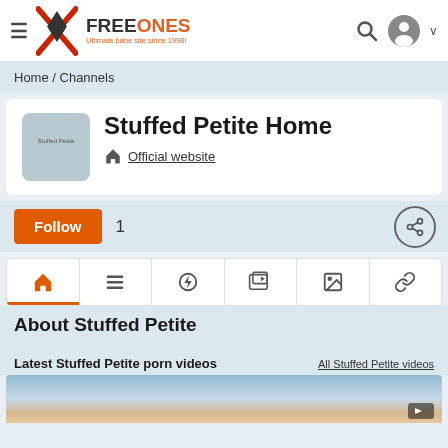FreeOnes — Ultimate babe site since 1998!
Home / Channels
Stuffed Petite Home
Official website
Follow  1
About Stuffed Petite
Latest Stuffed Petite porn videos
All Stuffed Petite videos